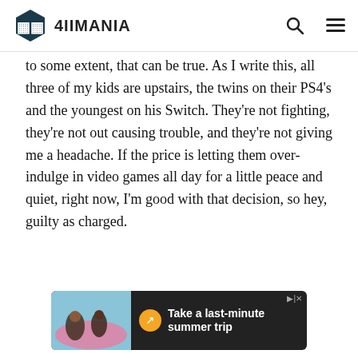4IIMANIA
to some extent, that can be true. As I write this, all three of my kids are upstairs, the twins on their PS4's and the youngest on his Switch. They're not fighting, they're not out causing trouble, and they're not giving me a headache. If the price is letting them over-indulge in video games all day for a little peace and quiet, right now, I'm good with that decision, so hey, guilty as charged.
[Figure (screenshot): Advertisement banner: 'Take a last-minute summer trip' with travel icon on dark background, showing people in a pool]